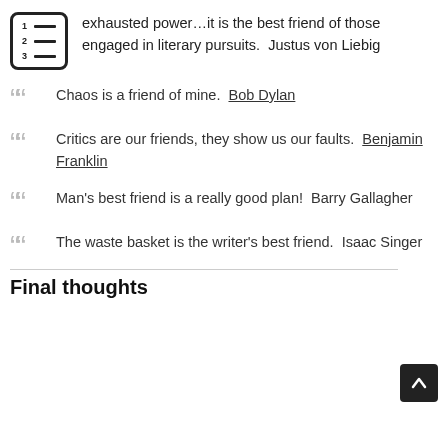[Figure (illustration): Numbered list icon — a small square with border containing three numbered lines]
exhausted power…it is the best friend of those engaged in literary pursuits.  Justus von Liebig
Chaos is a friend of mine.  Bob Dylan
Critics are our friends, they show us our faults.  Benjamin Franklin
Man's best friend is a really good plan!  Barry Gallagher
The waste basket is the writer's best friend.  Isaac Singer
Final thoughts